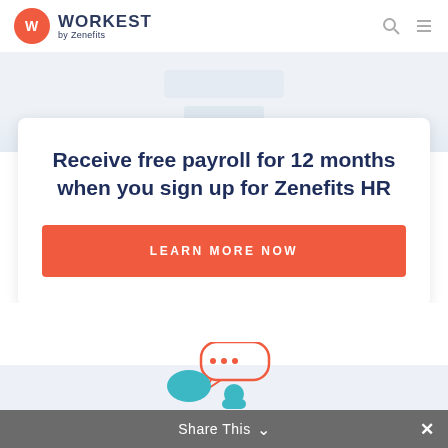[Figure (logo): Workest by Zenefits logo — red circle with W, bold dark blue WORKEST text, 'by Zenefits' subtitle]
Receive free payroll for 12 months when you sign up for Zenefits HR
LEARN MORE NOW
[Figure (illustration): Chat bubble illustration with a person, coral/teal color scheme]
Share This